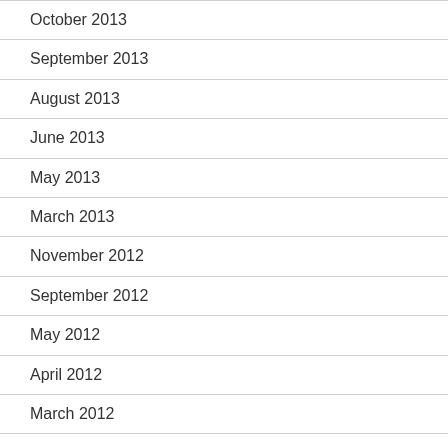October 2013
September 2013
August 2013
June 2013
May 2013
March 2013
November 2012
September 2012
May 2012
April 2012
March 2012